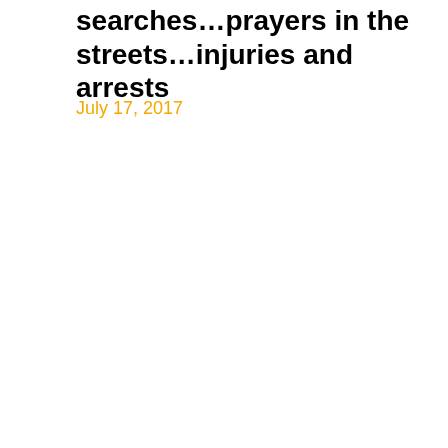searches…prayers in the streets…injuries and arrests
July 17, 2017
[Figure (other): Navigation buttons: left arrow (previous) and right arrow (next), both with yellow/golden background and white chevron icons]